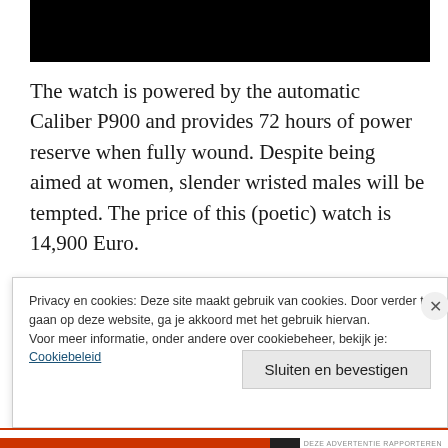[Figure (photo): Black rectangular image at the top of the page]
The watch is powered by the automatic Caliber P900 and provides 72 hours of power reserve when fully wound. Despite being aimed at women, slender wristed males will be tempted. The price of this (poetic) watch is 14,900 Euro.
Privacy en cookies: Deze site maakt gebruik van cookies. Door verder te gaan op deze website, ga je akkoord met het gebruik hiervan.
Voor meer informatie, onder andere over cookiebeheer, bekijk je:
Cookiebeleid
Sluiten en bevestigen